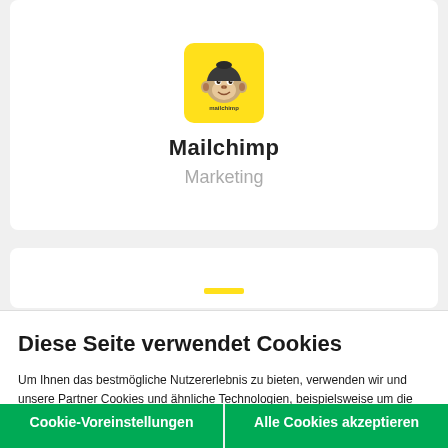[Figure (logo): Mailchimp logo: yellow square with rounded corners containing a cartoon monkey face]
Mailchimp
Marketing
Diese Seite verwendet Cookies
Um Ihnen das bestmögliche Nutzererlebnis zu bieten, verwenden wir und unsere Partner Cookies und ähnliche Technologien, beispielsweise um die Nutzung zu analysieren, unsere Websites und Services zu verbessern, Inhalte zu personalisieren, unser Marketing zu optimieren und die Website zu schützen. Weitere Informationen entnehmen Sie bitte unserer Datenschutzerklärung. Eine Liste aller verwendeten Cookies finden Sie in unserer Cookie-Richtlinie.
Datenschutzerklärung   Unsere Cookie-Richtlinie
Cookie-Voreinstellungen   Alle Cookies akzeptieren